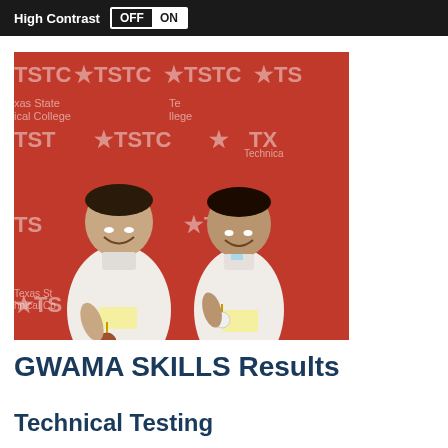High Contrast OFF ON
[Figure (photo): Two young men in white polo shirts holding medals, standing in front of a red TSTC (Texas State Technical College) branded backdrop.]
GWAMA SKILLS Results
Technical Testing